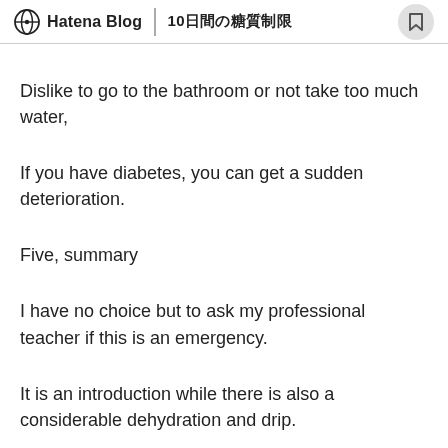Hatena Blog | 10日間の糖質制限
Dislike to go to the bathroom or not take too much water,
If you have diabetes, you can get a sudden deterioration.
Five, summary
I have no choice but to ask my professional teacher if this is an emergency.
It is an introduction while there is also a considerable dehydration and drip.